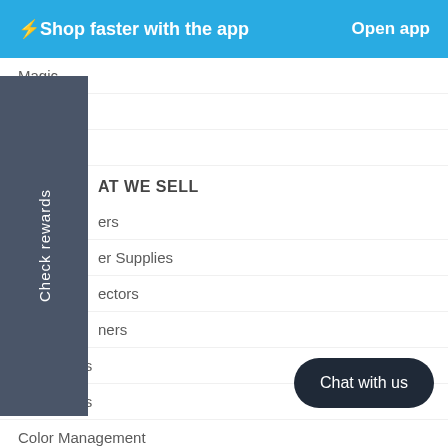⚡Shop faster with the app   Open app
Magic
MOAB
Sihl
AT WE SELL
ers
er Supplies
ectors
ners
Laminators
Heat Press
Color Management
Finishing Supplies
CONTACTS
Check rewards